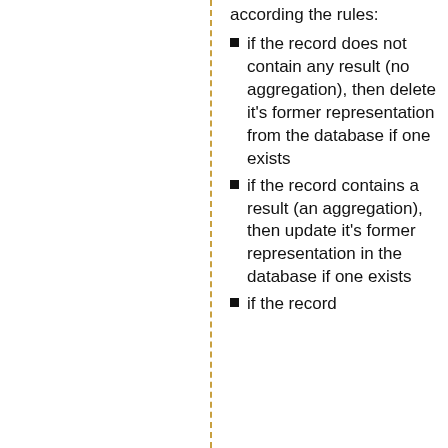according the rules:
if the record does not contain any result (no aggregation), then delete it's former representation from the database if one exists
if the record contains a result (an aggregation), then update it's former representation in the database if one exists
if the record